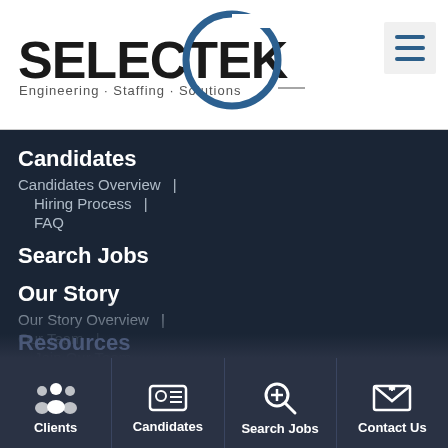[Figure (logo): SELECTEK logo with blue circle and tagline Engineering Staffing Solutions]
[Figure (other): Hamburger menu button icon (three horizontal blue lines on light gray background)]
Candidates
Candidates Overview  |
Hiring Process  |
FAQ
Search Jobs
Our Story
Our Story Overview  |
Our Team  |
Join Our Team
Resources
[Figure (infographic): Bottom navigation bar with four icons: Clients (people icon), Candidates (ID card icon), Search Jobs (magnifier icon), Contact Us (envelope icon)]